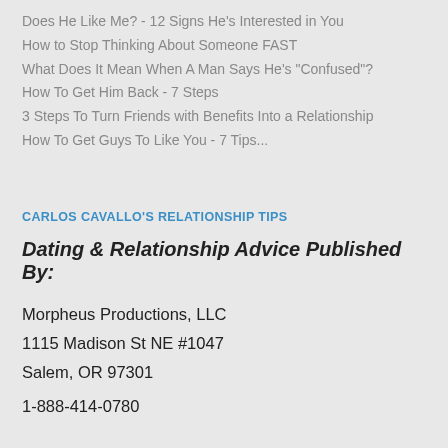Does He Like Me? - 12 Signs He's Interested in You
How to Stop Thinking About Someone FAST
What Does It Mean When A Man Says He's "Confused"?
How To Get Him Back - 7 Steps
3 Steps To Turn Friends with Benefits Into a Relationship
How To Get Guys To Like You - 7 Tips...
CARLOS CAVALLO'S RELATIONSHIP TIPS
Dating & Relationship Advice Published By:
Morphheus Productions, LLC
1115 Madison St NE #1047
Salem, OR 97301
1-888-414-0780